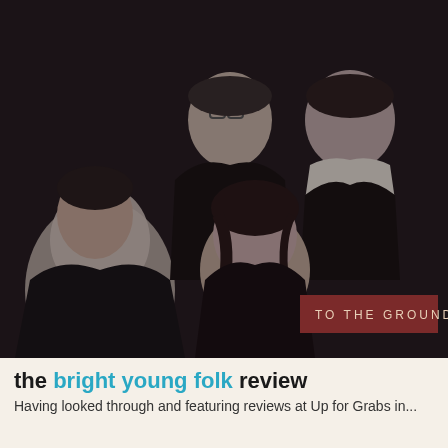[Figure (photo): Album cover photo of a folk band called 'To The Ground'. Four young people posed looking downward at the camera. One woman with dark hair in the center wearing black lace, three men around her also in dark clothing. A dark maroon banner in the lower right reads 'TO THE GROUND' in uppercase spaced letters.]
the bright young folk review
Having looked through and featuring reviews at Up for Grabs in...